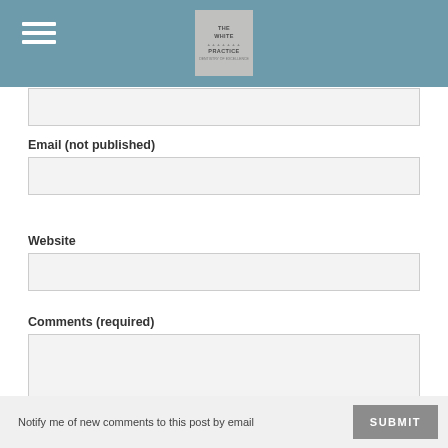[Figure (logo): The White Practice dentistry logo in header bar with hamburger menu icon]
Email (not published)
Website
Comments (required)
Notify me of new comments to this post by email